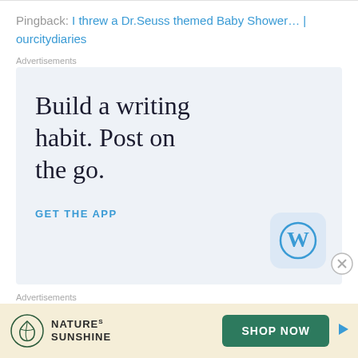Pingback: I threw a Dr.Seuss themed Baby Shower... | ourcitydiaries
Advertisements
[Figure (infographic): WordPress app advertisement with text 'Build a writing habit. Post on the go.' and 'GET THE APP' with WordPress logo]
Advertisements
[Figure (infographic): Nature's Sunshine advertisement with 'SHOP NOW' button]